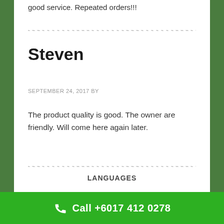good service. Repeated orders!!!
Steven
SEPTEMBER 24, 2017 BY
The product quality is good. The owner are friendly. Will come here again later.
LANGUAGES
Call +6017 412 0278